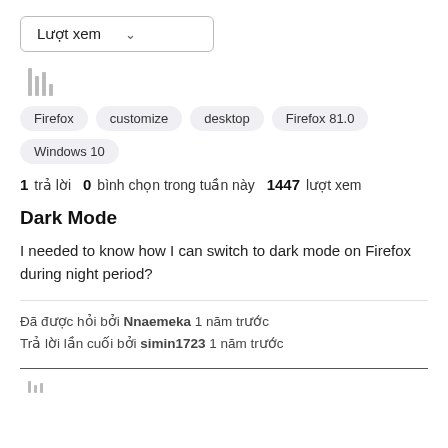[Figure (screenshot): Dropdown selector showing 'Lượt xem' with chevron]
[Figure (other): Bar chart icon (analytics icon with vertical bars)]
Firefox
customize
desktop
Firefox 81.0
Windows 10
1 trả lời   0  bình chọn trong tuần này   1447  lượt xem
Dark Mode
I needed to know how I can switch to dark mode on Firefox during night period?
Đã được hỏi bởi Nnaemeka 1 năm trước
Trả lời lần cuối bởi simin1723 1 năm trước